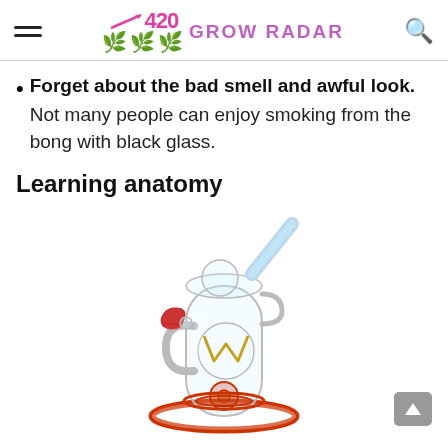420 GROW RADAR [navigation header with logo, hamburger menu, and search icon]
Forget about the bad smell and awful look. Not many people can enjoy smoking from the bong with black glass.
Learning anatomy
[Figure (photo): A clear glass bong/water pipe with red accents, featuring multiple chambers and a recycler design, with a red cone-shaped bowl piece on the left side.]